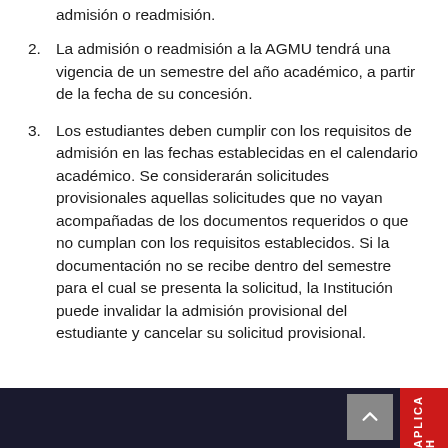admisión o readmisión.
2. La admisión o readmisión a la AGMU tendrá una vigencia de un semestre del año académico, a partir de la fecha de su concesión.
3. Los estudiantes deben cumplir con los requisitos de admisión en las fechas establecidas en el calendario académico. Se considerarán solicitudes provisionales aquellas solicitudes que no vayan acompañadas de los documentos requeridos o que no cumplan con los requisitos establecidos. Si la documentación no se recibe dentro del semestre para el cual se presenta la solicitud, la Institución puede invalidar la admisión provisional del estudiante y cancelar su solicitud provisional.